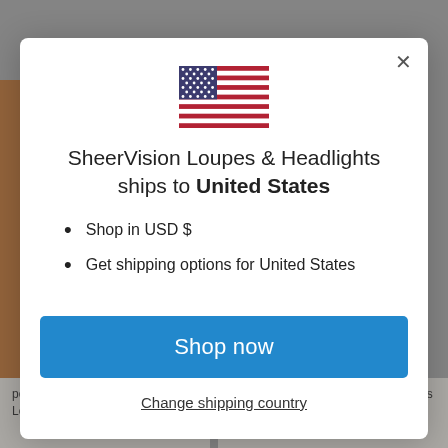[Figure (screenshot): Background webpage of SheerVision Loupes & Headlights product page, partially visible behind modal overlay. Orange strip on left side, product text visible at bottom.]
[Figure (illustration): US flag SVG icon centered at top of modal dialog]
SheerVision Loupes & Headlights ships to United States
Shop in USD $
Get shipping options for United States
Shop now
Change shipping country
perfect length and easy to clean. Loupes light fits on
product. Exactly what dental providers need for